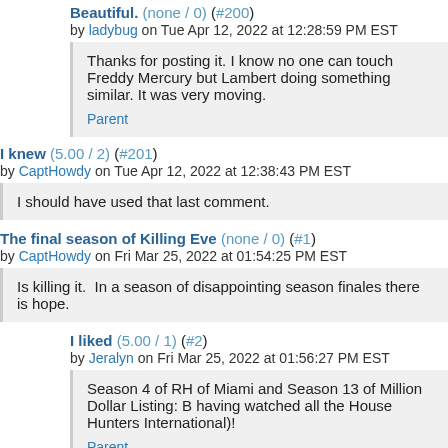Beautiful. (none / 0) (#200) by ladybug on Tue Apr 12, 2022 at 12:28:59 PM EST
Thanks for posting it. I know no one can touch Freddy Mercury but Lambert doing something similar. It was very moving.
Parent
I knew (5.00 / 2) (#201) by CaptHowdy on Tue Apr 12, 2022 at 12:38:43 PM EST
I should have used that last comment.
The final season of Killing Eve (none / 0) (#1) by CaptHowdy on Fri Mar 25, 2022 at 01:54:25 PM EST
Is killing it.  In a season of disappointing season finales there is hope.
I liked (5.00 / 1) (#2) by Jeralyn on Fri Mar 25, 2022 at 01:56:27 PM EST
Season 4 of RH of Miami and Season 13 of Million Dollar Listing: B having watched all the House Hunters International)!
Parent
So far the only good season finale (none / 0) (#4)